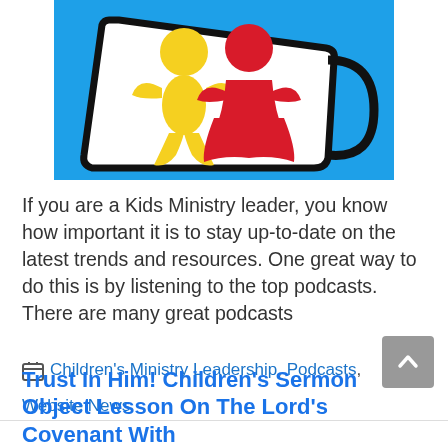[Figure (illustration): A mug with a blue background containing yellow and red gingerbread-style child figures inside the cup, rendered as a logo/illustration.]
If you are a Kids Ministry leader, you know how important it is to stay up-to-date on the latest trends and resources. One great way to do this is by listening to the top podcasts. There are many great podcasts
Children's Ministry Leadership, Podcasts, Website News
Trust In Him! Children's Sermon Object Lesson On The Lord’s Covenant With